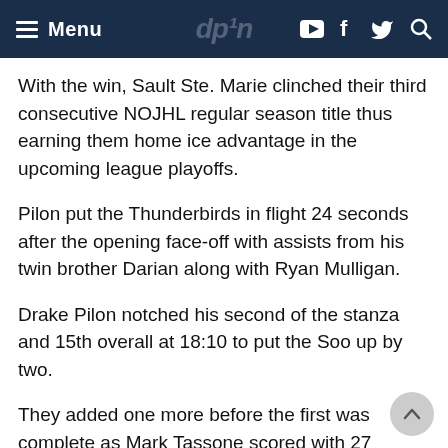Menu
With the win, Sault Ste. Marie clinched their third consecutive NOJHL regular season title thus earning them home ice advantage in the upcoming league playoffs.
Pilon put the Thunderbirds in flight 24 seconds after the opening face-off with assists from his twin brother Darian along with Ryan Mulligan.
Drake Pilon notched his second of the stanza and 15th overall at 18:10 to put the Soo up by two.
They added one more before the first was complete as Mark Tassone scored with 27 seconds left to make it 3-0.
Rayside-Balfour replaced starter MacKenzie Savard with Jessie Morin to begin the middle session and the